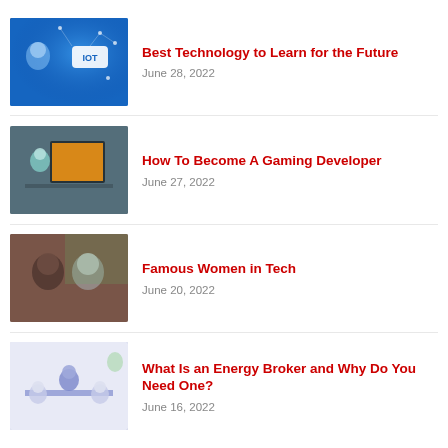[Figure (photo): IoT technology concept with robot and blue digital network background with IOT badge]
Best Technology to Learn for the Future
June 28, 2022
[Figure (photo): Person sitting at a computer monitor working on game development or 3D art]
How To Become A Gaming Developer
June 27, 2022
[Figure (photo): Two women, one Black woman and one older white woman with glasses, representing famous women in tech]
Famous Women in Tech
June 20, 2022
[Figure (photo): People sitting around a table in a meeting with a businessman, representing an energy broker consultation]
What Is an Energy Broker and Why Do You Need One?
June 16, 2022